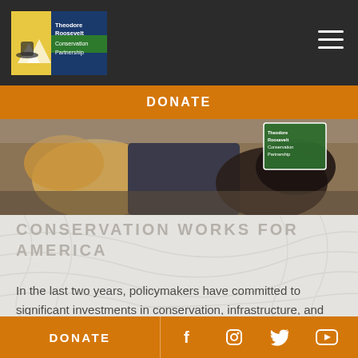[Figure (logo): Theodore Roosevelt Conservation Partnership logo with hat and mountain imagery, white text on green/blue background]
DONATE
[Figure (photo): Photo of dogs (golden and dark colored) resting on a person's lap outdoors, with Theodore Roosevelt Conservation Partnership logo overlay in upper right]
CONSERVATION WORKS FOR AMERICA
In the last two years, policymakers have committed to significant investments in conservation, infrastructure, and reversing climate change. Hunters and anglers continue to be vocal about the opportunity to create conservation jobs, restore habitat, and boost
DONATE